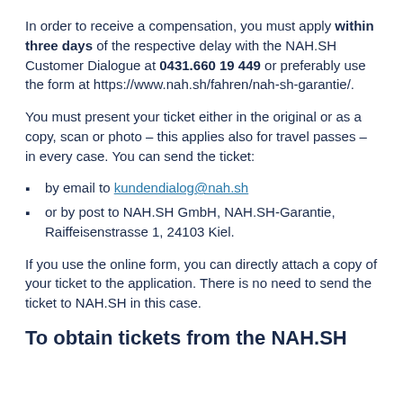In order to receive a compensation, you must apply within three days of the respective delay with the NAH.SH Customer Dialogue at 0431.660 19 449 or preferably use the form at https://www.nah.sh/fahren/nah-sh-garantie/.
You must present your ticket either in the original or as a copy, scan or photo – this applies also for travel passes – in every case. You can send the ticket:
by email to kundendialog@nah.sh
or by post to NAH.SH GmbH, NAH.SH-Garantie, Raiffeisenstrasse 1, 24103 Kiel.
If you use the online form, you can directly attach a copy of your ticket to the application. There is no need to send the ticket to NAH.SH in this case.
To obtain tickets from the NAH.SH...